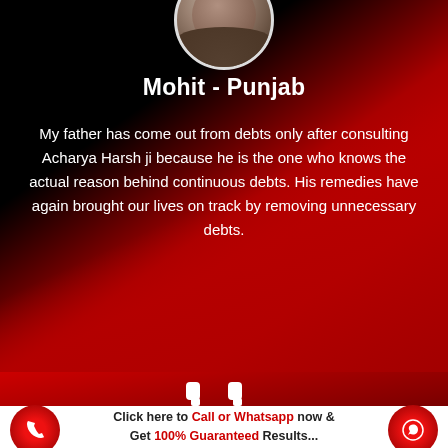[Figure (photo): Circular avatar/profile photo of a person at top center on dark red background]
Mohit - Punjab
My father has come out from debts only after consulting Acharya Harsh ji because he is the one who knows the actual reason behind continuous debts. His remedies have again brought our lives on track by removing unnecessary debts.
[Figure (infographic): Carousel pagination dots row — one blue active dot, many grey dots]
[Figure (infographic): Large white quotation mark icon above a counter showing 014809 on dark red background]
Click here to Call or Whatsapp now & Get 100% Guaranteed Results...